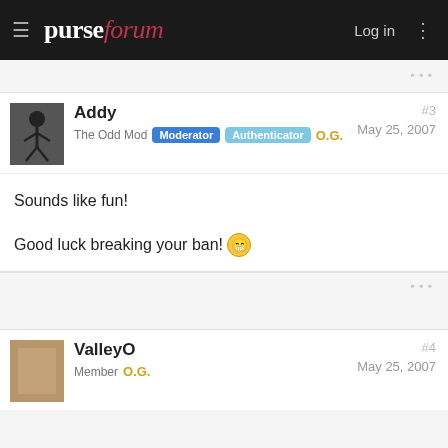purseforum — Log in
Addy — The Odd Mod — Moderator — Authenticator — O.G. — #3 — May 25, 2007
Sounds like fun!

Good luck breaking your ban! 😁
ValleyO — Member — O.G. — #4 — May 25, 2007